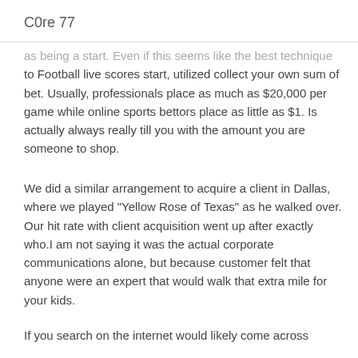C0re 77
as being a start. Even if this seems like the best technique to Football live scores start, utilized collect your own sum of bet. Usually, professionals place as much as $20,000 per game while online sports bettors place as little as $1. Is actually always really till you with the amount you are someone to shop.
We did a similar arrangement to acquire a client in Dallas, where we played "Yellow Rose of Texas" as he walked over. Our hit rate with client acquisition went up after exactly who.I am not saying it was the actual corporate communications alone, but because customer felt that anyone were an expert that would walk that extra mile for your kids.
If you search on the internet would likely come across